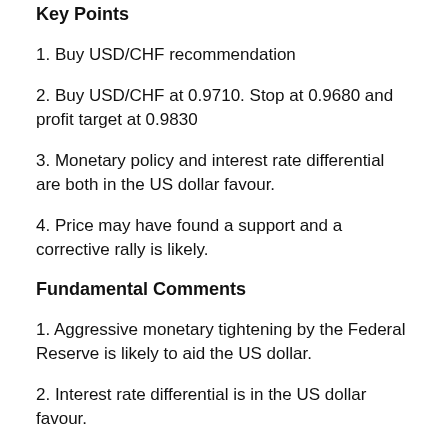Key Points
1. Buy USD/CHF recommendation
2. Buy USD/CHF at 0.9710. Stop at 0.9680 and profit target at 0.9830
3. Monetary policy and interest rate differential are both in the US dollar favour.
4. Price may have found a support and a corrective rally is likely.
Fundamental Comments
1. Aggressive monetary tightening by the Federal Reserve is likely to aid the US dollar.
2. Interest rate differential is in the US dollar favour.